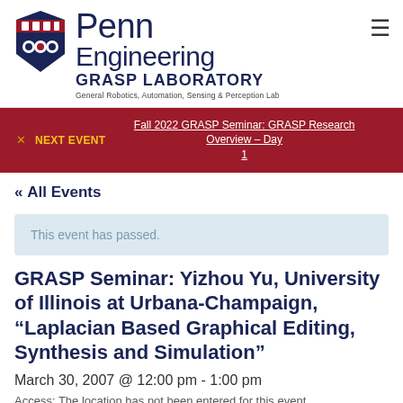[Figure (logo): Penn Engineering GRASP Laboratory logo with shield and text]
NEXT EVENT Fall 2022 GRASP Seminar: GRASP Research Overview – Day 1
« All Events
This event has passed.
GRASP Seminar: Yizhou Yu, University of Illinois at Urbana-Champaign, "Laplacian Based Graphical Editing, Synthesis and Simulation"
March 30, 2007 @ 12:00 pm - 1:00 pm
Access: The location has not been entered for this event.